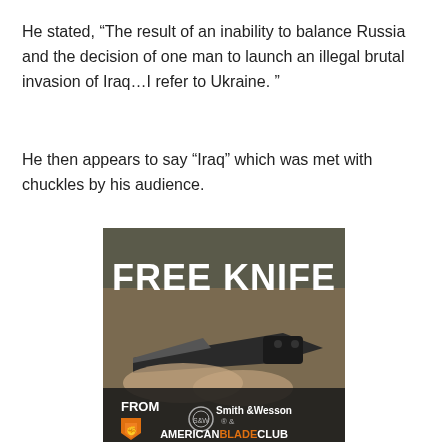He stated, “The result of an inability to balance Russia and the decision of one man to launch an illegal brutal invasion of Iraq…I refer to Ukraine. ”
He then appears to say “Iraq” which was met with chuckles by his audience.
[Figure (photo): Advertisement image with bold white text 'FREE KNIFE' over a photo of a hand holding a folding knife, with logos for Smith & Wesson and American Blade Club at the bottom, and an orange arrow/logo for 'FROM'.]